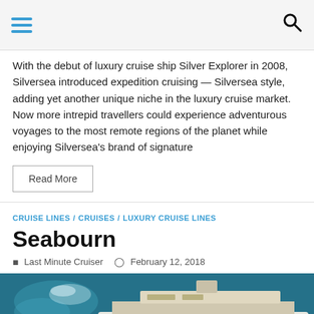Navigation header with hamburger menu and search icon
With the debut of luxury cruise ship Silver Explorer in 2008, Silversea introduced expedition cruising — Silversea style, adding yet another unique niche in the luxury cruise market. Now more intrepid travellers could experience adventurous voyages to the most remote regions of the planet while enjoying Silversea's brand of signature
Read More
CRUISE LINES / CRUISES / LUXURY CRUISE LINES
Seabourn
Last Minute Cruiser   February 12, 2018
[Figure (photo): Aerial view of a luxury cruise ship on blue-green water]